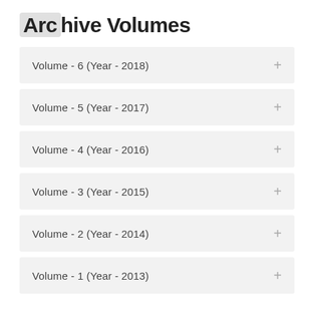Archive Volumes
Volume - 6 (Year - 2018)
Volume - 5 (Year - 2017)
Volume - 4 (Year - 2016)
Volume - 3 (Year - 2015)
Volume - 2 (Year - 2014)
Volume - 1 (Year - 2013)